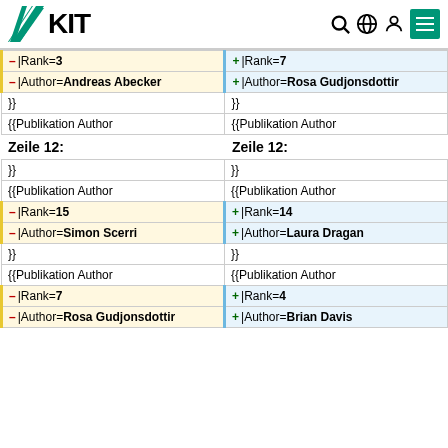KIT logo and navigation icons
| Left (old) | Right (new) |
| --- | --- |
| – |Rank=3 | + |Rank=7 |
| – |Author=Andreas Abecker | + |Author=Rosa Gudjonsdottir |
| }} | }} |
| {{Publikation Author | {{Publikation Author |
Zeile 12:
| Left (old) | Right (new) |
| --- | --- |
| }} | }} |
| {{Publikation Author | {{Publikation Author |
| – |Rank=15 | + |Rank=14 |
| – |Author=Simon Scerri | + |Author=Laura Dragan |
| }} | }} |
| {{Publikation Author | {{Publikation Author |
| – |Rank=7 | + |Rank=4 |
| – |Author=Rosa Gudjonsdottir | + |Author=Brian Davis |